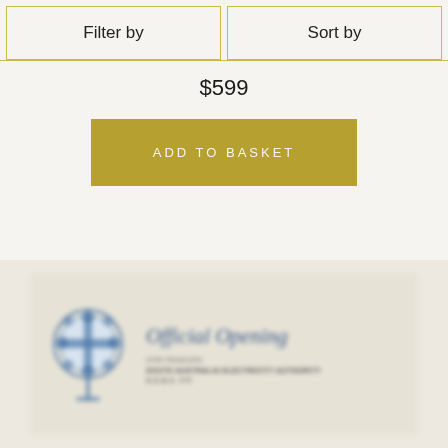Filter by
Sort by
$599
ADD TO BASKET
[Figure (photo): Blurred vintage card or invitation with a blue decorative logo/seal on the left and cursive text reading 'Official Opening' with address details on the right]